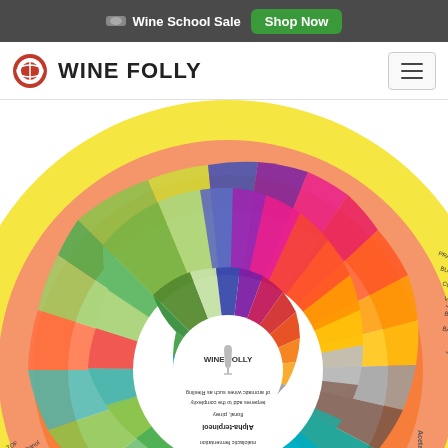Wine School Sale  Shop Now
WINE FOLLY
[Figure (infographic): Wine Folly aroma wheel — a circular diagram showing wine tasting notes organized by category (fruits, floral, earth, oak, etc.) with color-coded segments radiating from the center. The wheel is partially cropped showing the upper and right sections with colored arcs for different flavor categories including sweet, floral, fruit, oak, earth, and fermentation notes. The bottom half shows explanatory text about specific aroma compounds like Butyric acid and Alpha-terpineol, written upside-down, indicating the wheel continues below the visible area.]